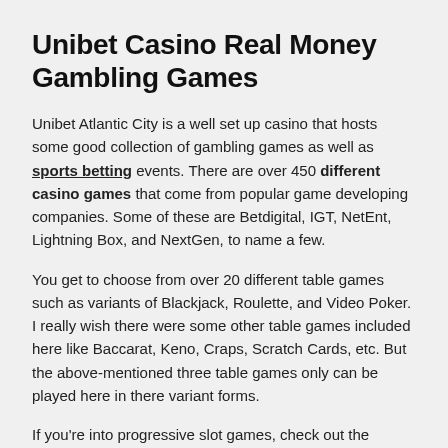Unibet Casino Real Money Gambling Games
Unibet Atlantic City is a well set up casino that hosts some good collection of gambling games as well as sports betting events. There are over 450 different casino games that come from popular game developing companies. Some of these are Betdigital, IGT, NetEnt, Lightning Box, and NextGen, to name a few.
You get to choose from over 20 different table games such as variants of Blackjack, Roulette, and Video Poker. I really wish there were some other table games included here like Baccarat, Keno, Craps, Scratch Cards, etc. But the above-mentioned three table games only can be played here in there variant forms.
If you're into progressive slot games, check out the casino's Jackpot section for the featured jackpot games. There are 25 progressive slots that you can choose to play on. Some of the popular jackpot games that I saw here were Cleopatra Mega Jackpot, Divine Fortune Progressive Jackpot, Imperial Riches, Jade Wins, and few others.